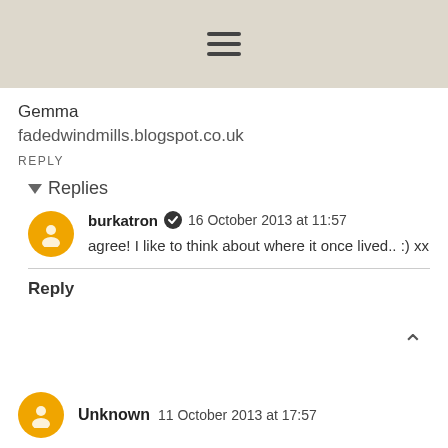☰ (hamburger menu icon)
Gemma
fadedwindmills.blogspot.co.uk
REPLY
▼ Replies
burkatron ✔ 16 October 2013 at 11:57
agree! I like to think about where it once lived.. :) xx
Reply
Unknown 11 October 2013 at 17:57